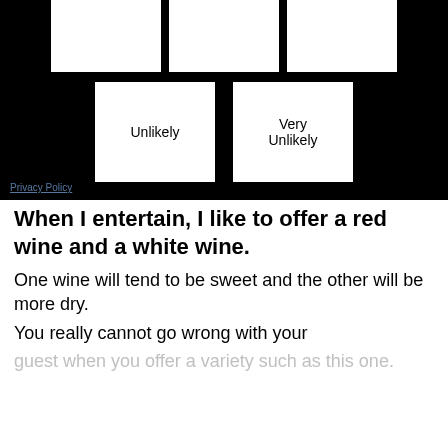[Figure (other): Black background UI panel with white option boxes. Top row shows three partially visible white boxes. Bottom row shows two white boxes labeled 'Unlikely' and 'Very Unlikely'. A 'Privacy Policy' link is visible at the bottom left of the panel.]
When I entertain, I like to offer a red wine and a white wine.
One wine will tend to be sweet and the other will be more dry.
You really cannot go wrong with your guest when you offer a variety such as this one.